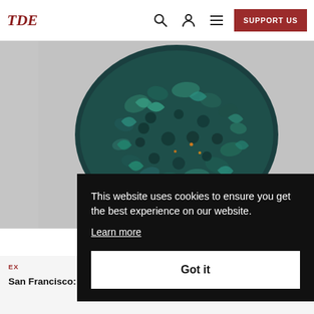TDE
[Figure (photo): A dark teal and charcoal textured object, appearing to be a heavily textured, crocheted or knotted cylindrical fiber sculpture, shown against a light grey background.]
This website uses cookies to ensure you get the best experience on our website.
Learn more
Got it
EX
San Francisco: A new exhibition at SFMOMA surveys